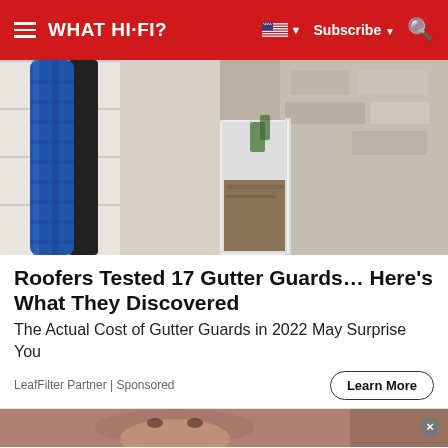WHAT HI-FI?
[Figure (photo): Close-up photo of a gutter being cleaned, showing blue pipe/vacuum hose on left and a dirty white gutter trough on the right with debris, near a stone wall]
Roofers Tested 17 Gutter Guards… Here's What They Discovered
The Actual Cost of Gutter Guards in 2022 May Surprise You
LeafFilter Partner | Sponsored
Learn More
[Figure (photo): Partial view of a second advertisement image showing a person's face, partially cut off, with a close button (×) in the top right corner]